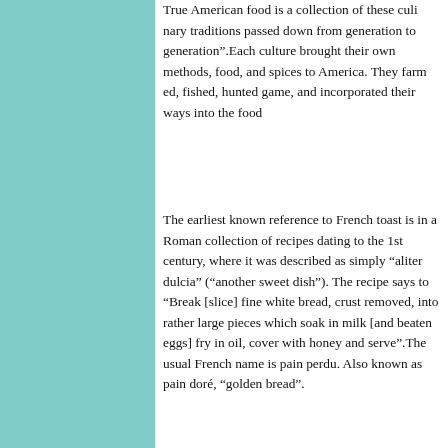True American food is a collection of these culinary traditions passed down from generation to generation”.Each culture brought their own methods, food, and spices to America. They farmed, fished, hunted game, and incorporated their ways into the food
The earliest known reference to French toast is in a Roman collection of recipes dating to the 1st century, where it was described as simply “aliter dulcia” (“another sweet dish”). The recipe says to “Break [slice] fine white bread, crust removed, into rather large pieces which soak in milk [and beaten eggs] fry in oil, cover with honey and serve”.The usual French name is pain perdu. Also known as pain doré, “golden bread”.
An Austrian and Bavarian term is pafese or pofe… referring to Pavia, Italy.The word “soup” in the context means bread soaked in a liquid, a sop. In Hungary, it is called bundáskenyér (lit. “furry bread”).
Advertisements